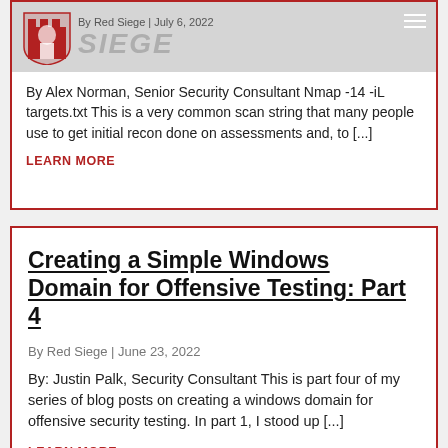[Figure (logo): Red Siege logo with castle icon and site name]
By Red Siege | July 6, 2022
By Alex Norman, Senior Security Consultant Nmap -14 -iL targets.txt This is a very common scan string that many people use to get initial recon done on assessments and, to [...]
LEARN MORE
Creating a Simple Windows Domain for Offensive Testing: Part 4
By Red Siege | June 23, 2022
By: Justin Palk, Security Consultant This is part four of my series of blog posts on creating a windows domain for offensive security testing. In part 1, I stood up [...]
LEARN MORE